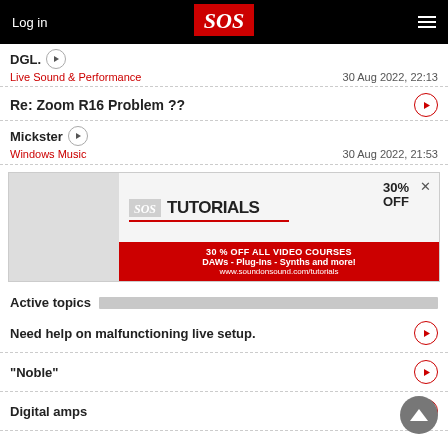Log in | SOS | Menu
DGL.
Live Sound & Performance — 30 Aug 2022, 22:13
Re: Zoom R16 Problem ??
Mickster
Windows Music — 30 Aug 2022, 21:53
[Figure (screenshot): SOS Tutorials advertisement banner: 30% OFF ALL VIDEO COURSES, DAWs - Plug-Ins - Synths and more!, www.soundonsound.com/tutorials]
Active topics
Need help on malfunctioning live setup.
"Noble"
Digital amps